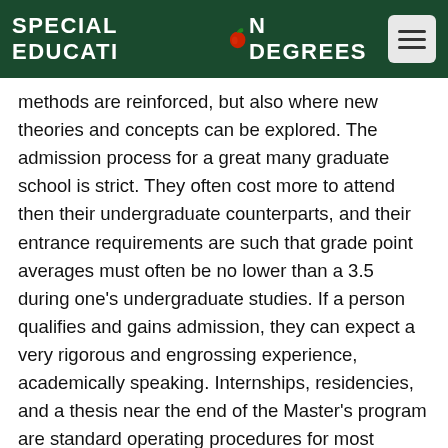SPECIAL EDUCATION DEGREES
methods are reinforced, but also where new theories and concepts can be explored. The admission process for a great many graduate school is strict. They often cost more to attend then their undergraduate counterparts, and their entrance requirements are such that grade point averages must often be no lower than a 3.5 during one's undergraduate studies. If a person qualifies and gains admission, they can expect a very rigorous and engrossing experience, academically speaking. Internships, residencies, and a thesis near the end of the Master's program are standard operating procedures for most graduate schools. The benefits of attending graduate school cannot be under estimated, particularly if considering the areas of access in Special Education it will grant an individual. Necessarily, the more educated a person is, the more they will be considered